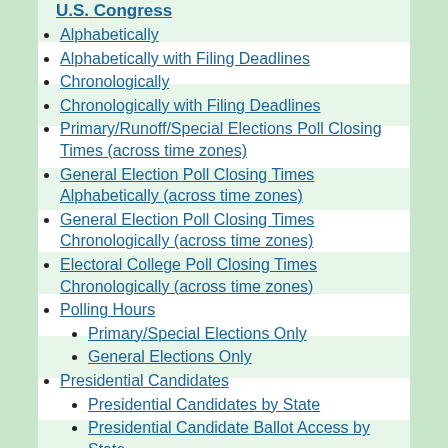Alphabetically
Alphabetically with Filing Deadlines
Chronologically
Chronologically with Filing Deadlines
Primary/Runoff/Special Elections Poll Closing Times (across time zones)
General Election Poll Closing Times Alphabetically (across time zones)
General Election Poll Closing Times Chronologically (across time zones)
Electoral College Poll Closing Times Chronologically (across time zones)
Polling Hours
Primary/Special Elections Only
General Elections Only
Presidential Candidates
Presidential Candidates by State
Presidential Candidate Ballot Access by State
Offices
Senate
Senators by 'Class'
Senate Electoral Classes
Governors
Governors by election 'cycle'
House
Primaries at a Glance